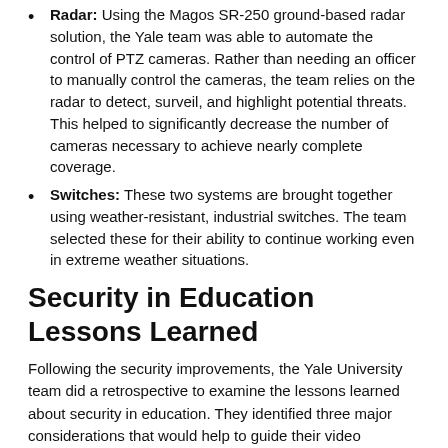Radar: Using the Magos SR-250 ground-based radar solution, the Yale team was able to automate the control of PTZ cameras. Rather than needing an officer to manually control the cameras, the team relies on the radar to detect, surveil, and highlight potential threats. This helped to significantly decrease the number of cameras necessary to achieve nearly complete coverage.
Switches: These two systems are brought together using weather-resistant, industrial switches. The team selected these for their ability to continue working even in extreme weather situations.
Security in Education Lessons Learned
Following the security improvements, the Yale University team did a retrospective to examine the lessons learned about security in education. They identified three major considerations that would help to guide their video surveillance in the future.
There is a need for demoing cameras on location and at night before making their purchasing decisions.